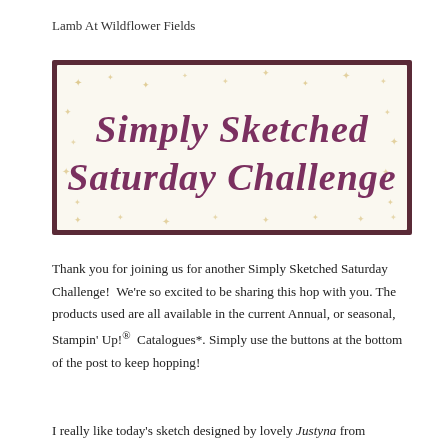Lamb At Wildflower Fields
[Figure (illustration): Banner image with dark maroon border on cream background with gold star decorations. Script text reads 'Simply Sketched Saturday Challenge' in purple/maroon cursive lettering.]
Thank you for joining us for another Simply Sketched Saturday Challenge!  We're so excited to be sharing this hop with you. The products used are all available in the current Annual, or seasonal, Stampin' Up!®  Catalogues*. Simply use the buttons at the bottom of the post to keep hopping!
I really like today's sketch designed by lovely Justyna from